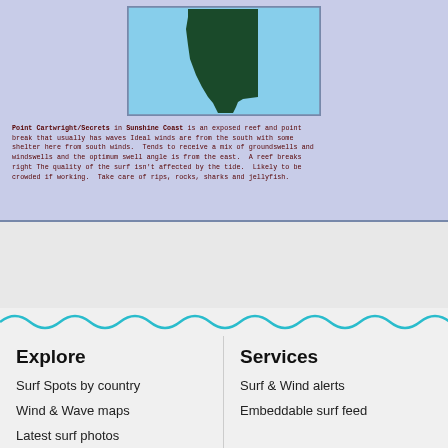[Figure (map): Map showing Point Cartwright/Secrets surf location in Sunshine Coast. Shows a dark green landmass shape against a light blue ocean background, within a bordered rectangle on a periwinkle background.]
Point Cartwright/Secrets in Sunshine Coast is an exposed reef and point break that usually has waves Ideal winds are from the south with some shelter here from south winds.  Tends to receive a mix of groundswells and windswells and the optimum swell angle is from the east.  A reef breaks right The quality of the surf isn't affected by the tide.  Likely to be crowded if working.  Take care of rips, rocks, sharks and jellyfish.
Explore
Surf Spots by country
Wind & Wave maps
Latest surf photos
Services
Surf & Wind alerts
Embeddable surf feed